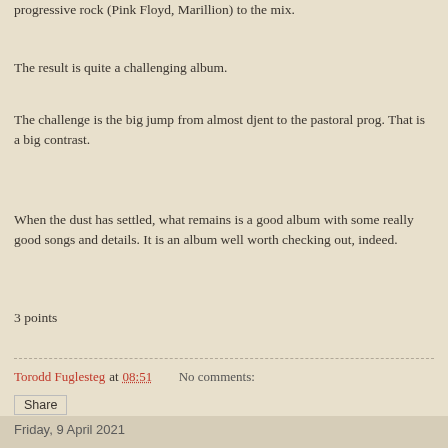progressive rock (Pink Floyd, Marillion) to the mix.
The result is quite a challenging album.
The challenge is the big jump from almost djent to the pastoral prog. That is a big contrast.
When the dust has settled, what remains is a good album with some really good songs and details. It is an album well worth checking out, indeed.
3 points
Torodd Fuglesteg at 08:51    No comments:
Share
Friday, 9 April 2021
Crayon Phase - Two Hundred Pages (2019)